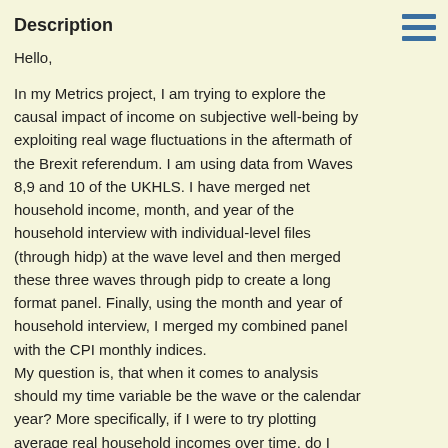Description
Hello,

In my Metrics project, I am trying to explore the causal impact of income on subjective well-being by exploiting real wage fluctuations in the aftermath of the Brexit referendum. I am using data from Waves 8,9 and 10 of the UKHLS. I have merged net household income, month, and year of the household interview with individual-level files (through hidp) at the wave level and then merged these three waves through pidp to create a long format panel. Finally, using the month and year of household interview, I merged my combined panel with the CPI monthly indices.
My question is, that when it comes to analysis should my time variable be the wave or the calendar year? More specifically, if I were to try plotting average real household incomes over time, do I create calendar year-based cross-sections (so 2016, 2017, etc), compute the real wages for those year based cross-sections, and then plot the movement of these averages over the years? I realized that since in each wave, interviews are conducted over 2 years, averaging real wages for Wave 8, for example, would pick up incomes reported in 2016, 2017, and 2018 and by mixing these years, I was worried I would be misrepresenting the actual macro trend.
Closely related then, in my econometric analysis should my time dummies be the wave or the year of the interview?
Finally, if I should create calendar year based cross-sections and then merge to create a panel, what would be the appropriate